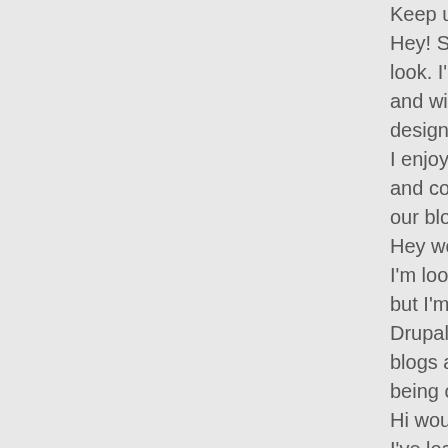Keep up the excellent works g Hey! Someone in my Myspace look. I'm definitely enjoying th and will be tweeting this to my design and style.| I enjoy what you guys tend to and coverage! Keep up the ar our blogroll.| Hey would you mind stating w I'm looking to start my own bl but I'm having a hard time ma Drupal. The reason I ask is be blogs and I'm looking for som being off-topic but I had to as Hi would you mind letting me I've loaded your blog in 3 com say this blog loads a lot quic provider at a reasonable price I love it when folks get togeth Great website, continue the g Thank you for the good writeu Look advanced to more adde way, how can we communicat Hello just wanted to give you a The words in your content see I'm not sure if this is a format